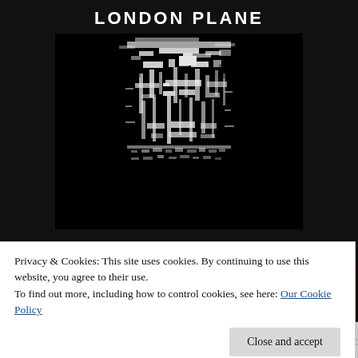LONDON PLANE
[Figure (photo): Black and white glitch/pixel art portrait of a person's face on dark background]
BRIGHT BLACK
Privacy & Cookies: This site uses cookies. By continuing to use this website, you agree to their use.
To find out more, including how to control cookies, see here: Our Cookie Policy
Close and accept
[Figure (other): Bottom strip showing a partial map or landscape image]